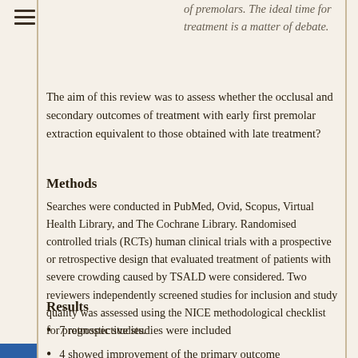of premolars. The ideal time for treatment is a matter of debate.
The aim of this review was to assess whether the occlusal and secondary outcomes of treatment with early first premolar extraction equivalent to those obtained with late treatment?
Methods
Searches were conducted in PubMed, Ovid, Scopus, Virtual Health Library, and The Cochrane Library. Randomised controlled trials (RCTs) human clinical trials with a prospective or retrospective design that evaluated treatment of patients with severe crowding caused by TSALD were considered. Two reviewers independently screened studies for inclusion and study quality was assessed using the NICE methodological checklist for prognostic studies.
Results
7 retrospective studies were included
4 showed improvement of the primary outcome